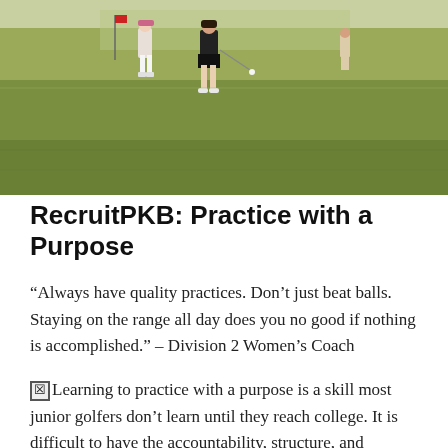[Figure (photo): Golf course scene with female golfers practicing on a putting green, sunny day with green grass fairway.]
RecruitPKB: Practice with a Purpose
“Always have quality practices. Don’t just beat balls. Staying on the range all day does you no good if nothing is accomplished.” – Division 2 Women’s Coach
☒Learning to practice with a purpose is a skill most junior golfers don’t learn until they reach college. It is difficult to have the accountability, structure, and motivation to truly practice with a purpose as a young golfer. But for those players who can learn to achieve this at an earlier age will